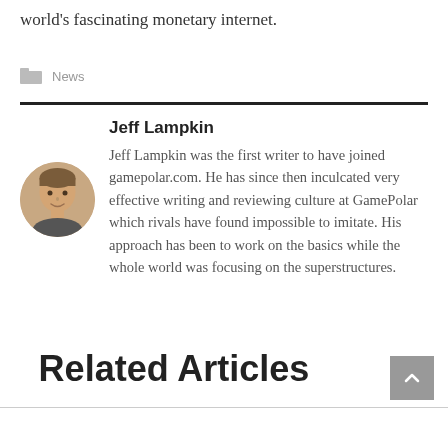world's fascinating monetary internet.
News
Jeff Lampkin
[Figure (photo): Circular headshot photo of Jeff Lampkin]
Jeff Lampkin was the first writer to have joined gamepolar.com. He has since then inculcated very effective writing and reviewing culture at GamePolar which rivals have found impossible to imitate. His approach has been to work on the basics while the whole world was focusing on the superstructures.
Related Articles